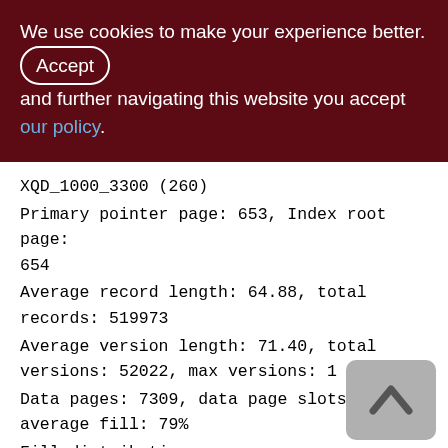We use cookies to make your experience better. By accepting and further navigating this website you accept our policy.
XQD_1000_3300 (260)
Primary pointer page: 653, Index root page: 654
Average record length: 64.88, total records: 519973
Average version length: 71.40, total versions: 52022, max versions: 1
Data pages: 7309, data page slots: 7309, average fill: 79%
Fill distribution:
0 - 19% = 2
20 - 39% = 0
40 - 59% = 0